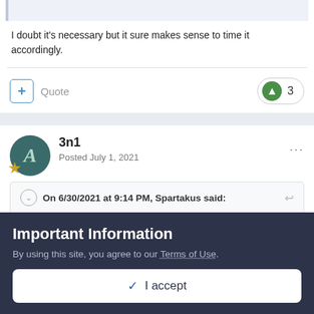I doubt it's necessary but it sure makes sense to time it accordingly.
Quote
3
3n1
Posted July 1, 2021
On 6/30/2021 at 9:14 PM, Spartakus said:
Don't they have to drop some zeros for it to work?
Important Information
By using this site, you agree to our Terms of Use.
I accept